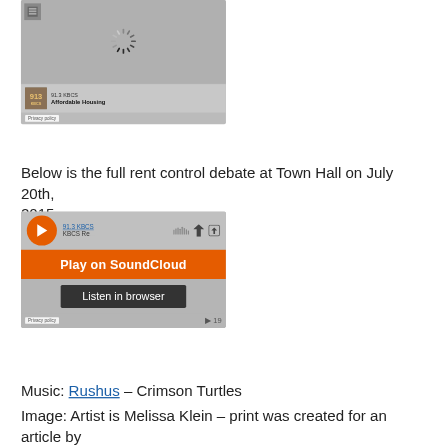[Figure (screenshot): Embedded SoundCloud audio player widget showing 91.3 KBCS Affordable Housing segment with loading spinner and gray background. Privacy policy label visible.]
Below is the full rent control debate at Town Hall on July 20th, 2015
[Figure (screenshot): Embedded SoundCloud audio player widget for 91.3 KBCS KBCS Re... with orange play button, Play on SoundCloud button, Listen in browser button, download and share icons, and 19 plays count. Privacy policy label visible.]
Music: Rushus – Crimson Turtles
Image: Artist is Melissa Klein – print was created for an article by